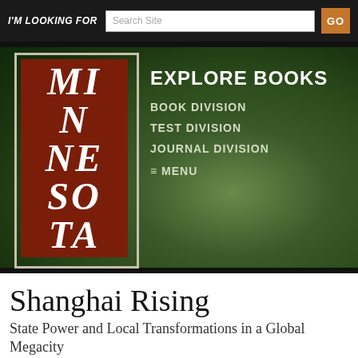I'M LOOKING FOR  Search Site  GO
[Figure (screenshot): University of Minnesota Press website banner with dark red logo block showing 'MINNESOTA' in italic white text, overlaid on a green foliage background. Navigation links include: EXPLORE BOOKS, BOOK DIVISION, TEST DIVISION, JOURNAL DIVISION, MENU.]
Shanghai Rising
State Power and Local Transformations in a Global Megacity
2009 • Xiangming Chen, editor